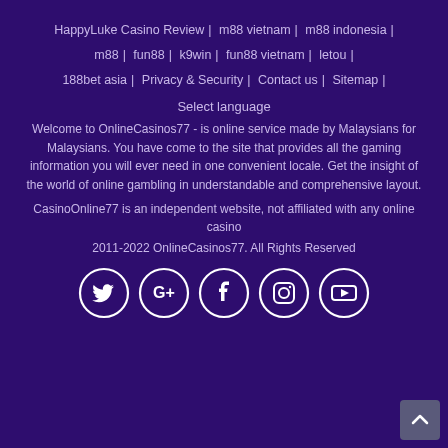HappyLuke Casino Review | m88 vietnam | m88 indonesia | m88 | fun88 | k9win | fun88 vietnam | letou | 188bet asia | Privacy & Security | Contact us | Sitemap |
Select language
Welcome to OnlineCasinos77 - is online service made by Malaysians for Malaysians. You have come to the site that provides all the gaming information you will ever need in one convenient locale. Get the insight of the world of online gambling in understandable and comprehensive layout.
CasinoOnline77 is an independent website, not affiliated with any online casino
2011-2022 OnlineCasinos77. All Rights Reserved
[Figure (other): Social media icons: Twitter, Google+, Facebook, Instagram, YouTube — white circle outlines on dark purple background]